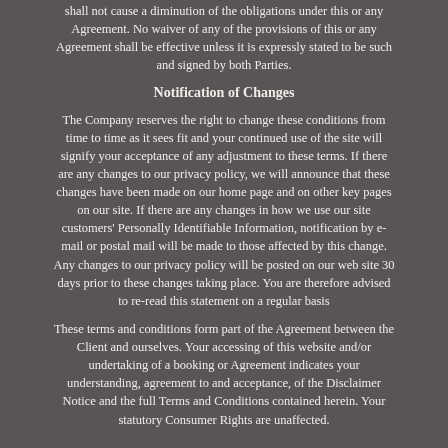shall not cause a diminution of the obligations under this or any Agreement. No waiver of any of the provisions of this or any Agreement shall be effective unless it is expressly stated to be such and signed by both Parties.
Notification of Changes
The Company reserves the right to change these conditions from time to time as it sees fit and your continued use of the site will signify your acceptance of any adjustment to these terms. If there are any changes to our privacy policy, we will announce that these changes have been made on our home page and on other key pages on our site. If there are any changes in how we use our site customers' Personally Identifiable Information, notification by e-mail or postal mail will be made to those affected by this change. Any changes to our privacy policy will be posted on our web site 30 days prior to these changes taking place. You are therefore advised to re-read this statement on a regular basis
These terms and conditions form part of the Agreement between the Client and ourselves. Your accessing of this website and/or undertaking of a booking or Agreement indicates your understanding, agreement to and acceptance, of the Disclaimer Notice and the full Terms and Conditions contained herein. Your statutory Consumer Rights are unaffected.